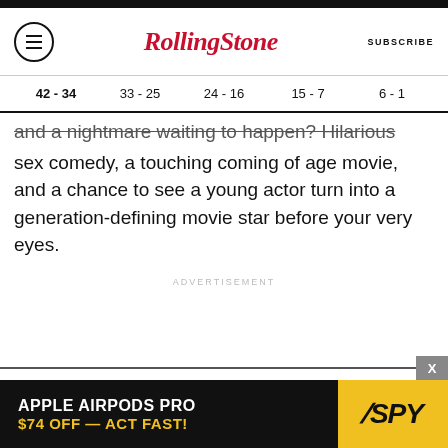RollingStone — SUBSCRIBE
| 42 - 34 | 33 - 25 | 24 - 16 | 15 - 7 | 6 - 1 |
| --- | --- | --- | --- | --- |
and a nightmare waiting to happen? Hilarious sex comedy, a touching coming of age movie, and a chance to see a young actor turn into a generation-defining movie star before your very eyes.
ADVERTISEMENT
[Figure (screenshot): Advertisement banner for Apple AirPods Pro - SPY. Text reads: APPLE AIRPODS PRO $74 OFF — ACT FAST!]